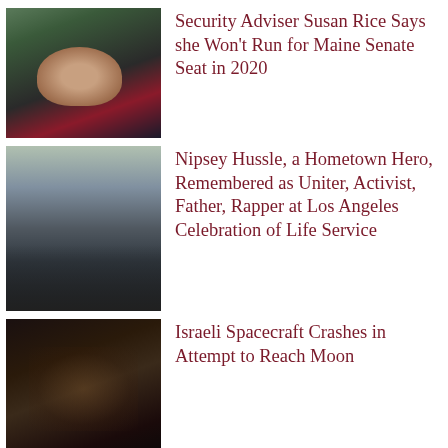[Figure (photo): Portrait photo of Susan Rice outdoors, wearing a black jacket and pink top]
Security Adviser Susan Rice Says she Won't Run for Maine Senate Seat in 2020
[Figure (photo): Street scene showing a funeral procession with crowds lining the street, motorcycles and a hearse visible]
Nipsey Hussle, a Hometown Hero, Remembered as Uniter, Activist, Father, Rapper at Los Angeles Celebration of Life Service
[Figure (photo): Dark image of Israeli spacecraft interior or equipment]
Israeli Spacecraft Crashes in Attempt to Reach Moon